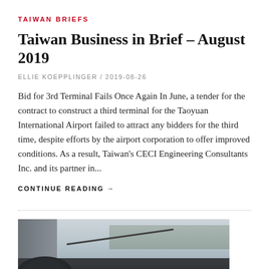TAIWAN BRIEFS
Taiwan Business in Brief – August 2019
ELLIE KOEPPLINGER / 2019-08-26
Bid for 3rd Terminal Fails Once Again In June, a tender for the contract to construct a third terminal for the Taoyuan International Airport failed to attract any bidders for the third time, despite efforts by the airport corporation to offer improved conditions. As a result, Taiwan's CECI Engineering Consultants Inc. and its partner in...
CONTINUE READING →
[Figure (photo): Photo of a car interior showing dashboard and windshield from driver's perspective, with a road visible through the windshield]